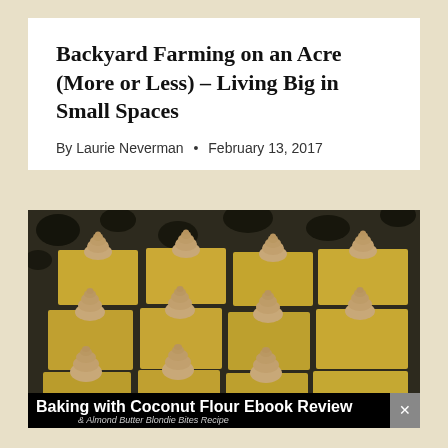Backyard Farming on an Acre (More or Less) – Living Big in Small Spaces
By Laurie Neverman • February 13, 2017
[Figure (photo): Close-up photo of golden blondie bars topped with piped almond butter frosting swirls arranged on a black and white spotted surface. An overlay banner reads 'Baking with Coconut Flour Ebook Review & Almond Butter Blondie Bites Recipe']